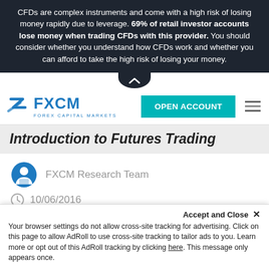CFDs are complex instruments and come with a high risk of losing money rapidly due to leverage. 69% of retail investor accounts lose money when trading CFDs with this provider. You should consider whether you understand how CFDs work and whether you can afford to take the high risk of losing your money.
[Figure (logo): FXCM Forex Capital Markets logo in blue]
[Figure (other): OPEN ACCOUNT teal button and hamburger menu icon]
Introduction to Futures Trading
FXCM Research Team
10/06/2016
A futures trading contract is an agreement between a buyer and seller to trade an underlying asset at an agreed-upon price on
Your browser settings do not allow cross-site tracking for advertising. Click on this page to allow AdRoll to use cross-site tracking to tailor ads to you. Learn more or opt out of this AdRoll tracking by clicking here. This message only appears once.